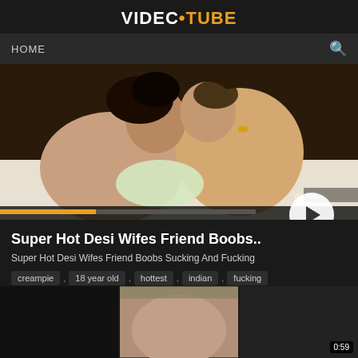VIDEC•TUBE
HOME
[Figure (screenshot): Video thumbnail showing two people kissing, with a play button overlay and a dark progress bar at the bottom]
Super Hot Desi Wifes Friend Boobs..
Super Hot Desi Wifes Friend Boobs Sucking And Fucking
creampie , 18 year old , hottest , indian , fucking
10213 view
[Figure (screenshot): Row of three small video thumbnails at the bottom of the page; third thumbnail shows duration badge 0:59]